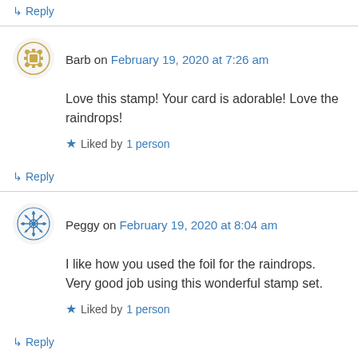↳ Reply
Barb on February 19, 2020 at 7:26 am
Love this stamp! Your card is adorable! Love the raindrops!
Liked by 1 person
↳ Reply
Peggy on February 19, 2020 at 8:04 am
I like how you used the foil for the raindrops. Very good job using this wonderful stamp set.
Liked by 1 person
↳ Reply